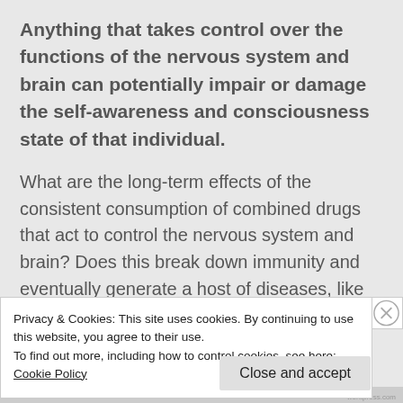Anything that takes control over the functions of the nervous system and brain can potentially impair or damage the self-awareness and consciousness state of that individual.
What are the long-term effects of the consistent consumption of combined drugs that act to control the nervous system and brain? Does this break down immunity and eventually generate a host of diseases, like Alzheimer's later on? Common sense
Privacy & Cookies: This site uses cookies. By continuing to use this website, you agree to their use. To find out more, including how to control cookies, see here: Cookie Policy
Close and accept